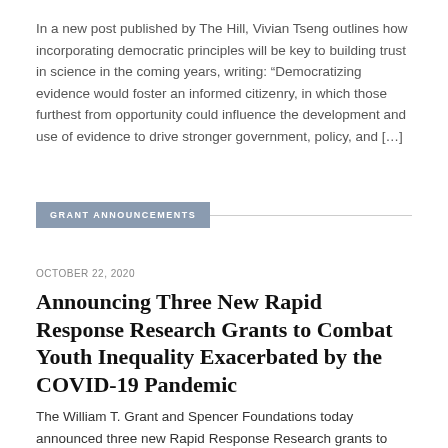In a new post published by The Hill, Vivian Tseng outlines how incorporating democratic principles will be key to building trust in science in the coming years, writing: “Democratizing evidence would foster an informed citizenry, in which those furthest from opportunity could influence the development and use of evidence to drive stronger government, policy, and […]
GRANT ANNOUNCEMENTS
OCTOBER 22, 2020
Announcing Three New Rapid Response Research Grants to Combat Youth Inequality Exacerbated by the COVID-19 Pandemic
The William T. Grant and Spencer Foundations today announced three new Rapid Response Research grants to support collaboration between researchers and policymakers with the